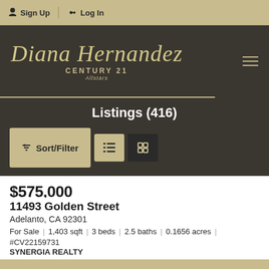Sign Up | Log In
[Figure (logo): Diana Hernandez Century 21 Allstars real estate agent logo with hamburger menu icon]
Listings (416)
Sort/Filter buttons and view toggle icons
$575,000 (partially visible price)
11493 Golden Street
Adelanto, CA 92301
For Sale | 1,403 sqft | 3 beds | 2.5 baths | 0.1656 acres | #CV22159731 SYNERGIA REALTY
Price Reduced by 2.63%